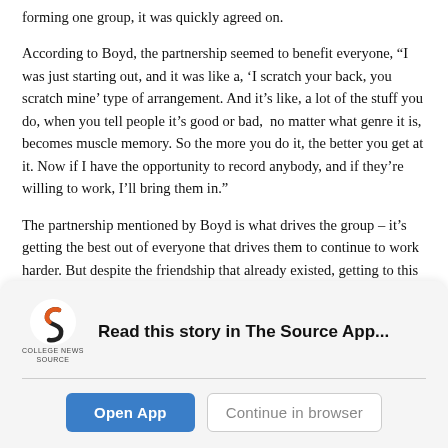forming one group, it was quickly agreed on.
According to Boyd, the partnership seemed to benefit everyone, “I was just starting out, and it was like a, ‘I scratch your back, you scratch mine’ type of arrangement. And it’s like, a lot of the stuff you do, when you tell people it’s good or bad, no matter what genre it is, becomes muscle memory. So the more you do it, the better you get at it. Now if I have the opportunity to record anybody, and if they’re willing to work, I’ll bring them in.”
The partnership mentioned by Boyd is what drives the group – it’s getting the best out of everyone that drives them to continue to work harder. But despite the friendship that already existed, getting to this point did not occur overnight.
[Figure (logo): College News Source logo: stylized orange and dark S shape mark with 'COLLEGE NEWS SOURCE' text beneath]
Read this story in The Source App...
Open App
Continue in browser